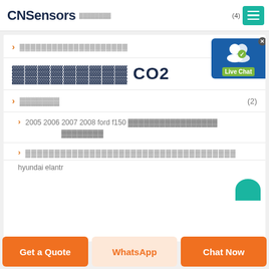CNSensors
▓▓▓▓▓▓▓▓▓▓▓▓▓▓▓▓▓▓▓▓
▓▓▓▓▓▓▓▓▓ CO2
▓▓▓▓▓▓▓  (2)
2005 2006 2007 2008 ford f150 ▓▓▓▓▓▓▓▓▓▓▓▓▓▓▓▓▓
▓▓▓▓▓▓▓▓▓▓▓▓▓▓▓▓▓▓▓▓▓▓▓▓▓▓▓▓▓▓ hyundai elantra